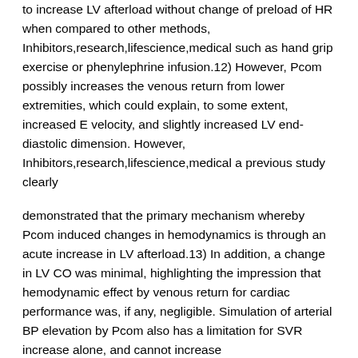to increase LV afterload without change of preload of HR when compared to other methods, Inhibitors,research,lifescience,medical such as hand grip exercise or phenylephrine infusion.12) However, Pcom possibly increases the venous return from lower extremities, which could explain, to some extent, increased E velocity, and slightly increased LV end-diastolic dimension. However, Inhibitors,research,lifescience,medical a previous study clearly
demonstrated that the primary mechanism whereby Pcom induced changes in hemodynamics is through an acute increase in LV afterload.13) In addition, a change in LV CO was minimal, highlighting the impression that hemodynamic effect by venous return for cardiac performance was, if any, negligible. Simulation of arterial BP elevation by Pcom also has a limitation for SVR increase alone, and cannot increase Inhibitors,research,lifescience,medical aortic stiffness which is more important